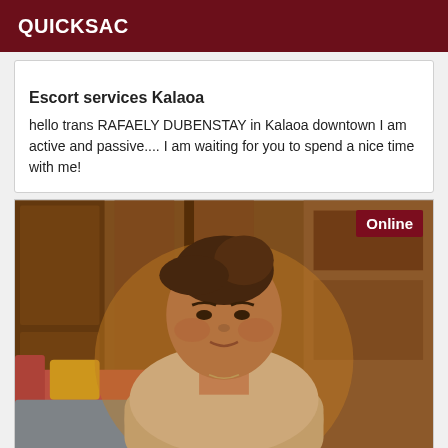QUICKSAC
Escort services Kalaoa
hello trans RAFAELY DUBENSTAY in Kalaoa downtown I am active and passive.... I am waiting for you to spend a nice time with me!
[Figure (photo): Photo of a person seated indoors wearing a beige knit sweater, with wooden furniture and a sofa visible in the background. An 'Online' badge is shown in the top-right corner of the image.]